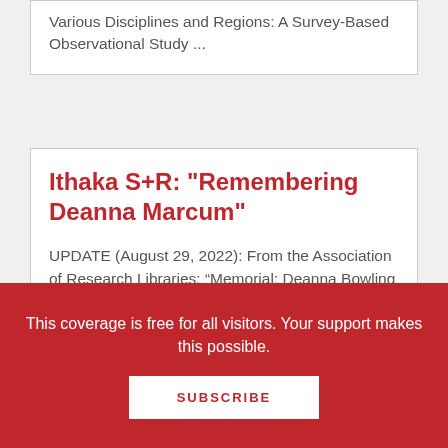Various Disciplines and Regions: A Survey-Based Observational Study ...
Ithaka S+R: "Remembering Deanna Marcum"
UPDATE (August 29, 2022): From the Association of Research Libraries: “Memorial: Deanna Bowling Marcum, 1946–2022” From an Ithaka S+R Post by Kevin Guthrie: We are so terribly sad about the ...
This coverage is free for all visitors. Your support makes this possible.
SUBSCRIBE